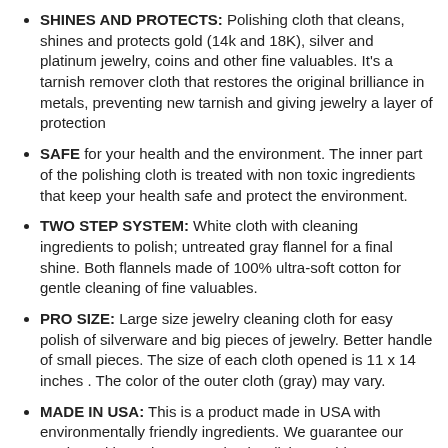SHINES AND PROTECTS: Polishing cloth that cleans, shines and protects gold (14k and 18K), silver and platinum jewelry, coins and other fine valuables. It's a tarnish remover cloth that restores the original brilliance in metals, preventing new tarnish and giving jewelry a layer of protection
SAFE for your health and the environment. The inner part of the polishing cloth is treated with non toxic ingredients that keep your health safe and protect the environment.
TWO STEP SYSTEM: White cloth with cleaning ingredients to polish; untreated gray flannel for a final shine. Both flannels made of 100% ultra-soft cotton for gentle cleaning of fine valuables.
PRO SIZE: Large size jewelry cleaning cloth for easy polish of silverware and big pieces of jewelry. Better handle of small pieces. The size of each cloth opened is 11 x 14 inches . The color of the outer cloth (gray) may vary.
MADE IN USA: This is a product made in USA with environmentally friendly ingredients. We guarantee our product with 60 day money back. Click on Add To Cart to start loving the way your fine valuables shine!